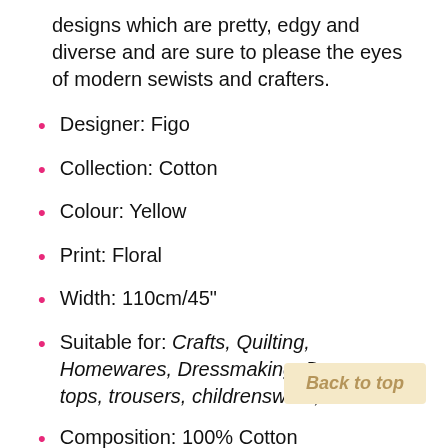designs which are pretty, edgy and diverse and are sure to please the eyes of modern sewists and crafters.
Designer: Figo
Collection: Cotton
Colour: Yellow
Print: Floral
Width: 110cm/45"
Suitable for: Crafts, Quilting, Homewares, Dressmaking: Dresses, tops, trousers, childrenswear, and skirts.
Composition: 100% Cotton
Weight: Medium weight